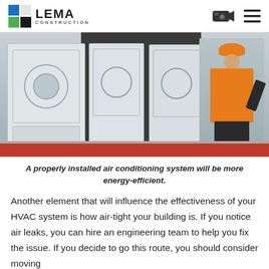LEMA CONSTRUCTION
[Figure (photo): A worker in an orange hard hat and high-visibility jacket inspecting large outdoor HVAC/air conditioning units mounted on a rooftop structure.]
A properly installed air conditioning system will be more energy-efficient.
Another element that will influence the effectiveness of your HVAC system is how air-tight your building is. If you notice air leaks, you can hire an engineering team to help you fix the issue. If you decide to go this route, you should consider moving